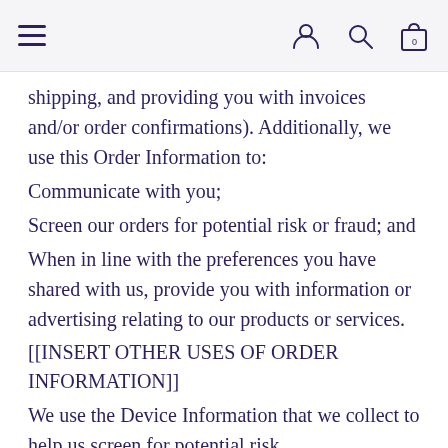Navigation bar with hamburger menu, user icon, search icon, and cart icon (0)
shipping, and providing you with invoices and/or order confirmations). Additionally, we use this Order Information to:
Communicate with you;
Screen our orders for potential risk or fraud; and
When in line with the preferences you have shared with us, provide you with information or advertising relating to our products or services.
[[INSERT OTHER USES OF ORDER INFORMATION]]
We use the Device Information that we collect to help us screen for potential risk